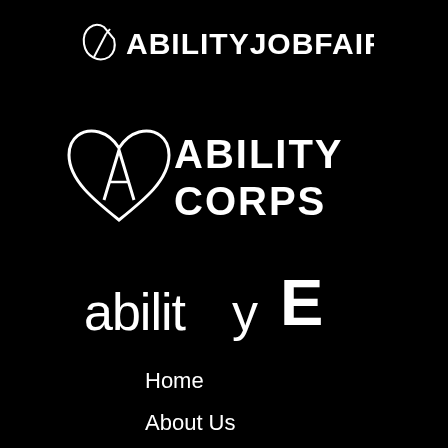[Figure (logo): AbilityJobFair logo — stylized leaf/arrow icon followed by ABILITYJOBFAIR text in white on black background]
[Figure (logo): Ability Corps logo — heart with 'A' letterform icon followed by ABILITY CORPS text in white on black background]
[Figure (logo): abilityE logo — lowercase 'abilityE' with large stylized E, white on black background]
Home
About Us
Contact Us
Membership